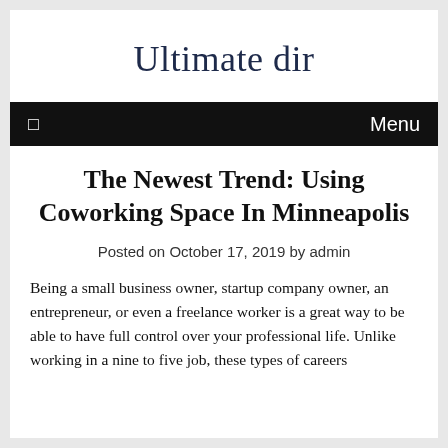Ultimate dir
☐  Menu
The Newest Trend: Using Coworking Space In Minneapolis
Posted on October 17, 2019 by admin
Being a small business owner, startup company owner, an entrepreneur, or even a freelance worker is a great way to be able to have full control over your professional life. Unlike working in a nine to five job, these types of careers